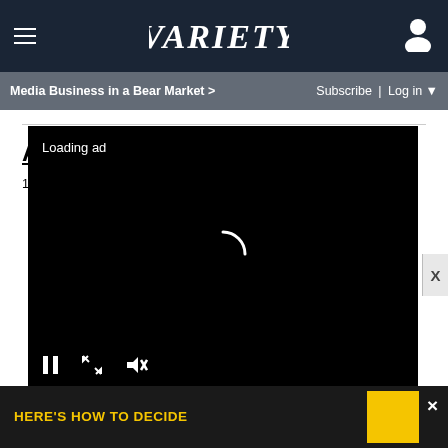VARIETY — Media Business in a Bear Market > | Subscribe | Log in
AND THE NOMINEES ARE:
1. "[link text]" (Amazon Studios)
[Figure (screenshot): Video player overlay showing a black video loading screen with 'Loading ad' text, a spinning loader in the center, and playback controls (pause, expand, mute) at the bottom. A yellow/black ad banner at the bottom reads 'HERE'S HOW TO DECIDE'.]
Loading ad